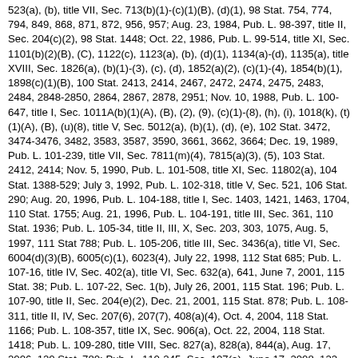523(a), (b), title VII, Sec. 713(b)(1)-(c)(1)(B), (d)(1), 98 Stat. 754, 774, 794, 849, 868, 871, 872, 956, 957; Aug. 23, 1984, Pub. L. 98-397, title II, Sec. 204(c)(2), 98 Stat. 1448; Oct. 22, 1986, Pub. L. 99-514, title XI, Sec. 1101(b)(2)(B), (C), 1122(c), 1123(a), (b), (d)(1), 1134(a)-(d), 1135(a), title XVIII, Sec. 1826(a), (b)(1)-(3), (c), (d), 1852(a)(2), (c)(1)-(4), 1854(b)(1), 1898(c)(1)(B), 100 Stat. 2413, 2414, 2467, 2472, 2474, 2475, 2483, 2484, 2848-2850, 2864, 2867, 2878, 2951; Nov. 10, 1988, Pub. L. 100-647, title I, Sec. 1011A(b)(1)(A), (B), (2), (9), (c)(1)-(8), (h), (i), 1018(k), (t)(1)(A), (B), (u)(8), title V, Sec. 5012(a), (b)(1), (d), (e), 102 Stat. 3472, 3474-3476, 3482, 3583, 3587, 3590, 3661, 3662, 3664; Dec. 19, 1989, Pub. L. 101-239, title VII, Sec. 7811(m)(4), 7815(a)(3), (5), 103 Stat. 2412, 2414; Nov. 5, 1990, Pub. L. 101-508, title XI, Sec. 11802(a), 104 Stat. 1388-529; July 3, 1992, Pub. L. 102-318, title V, Sec. 521, 106 Stat. 290; Aug. 20, 1996, Pub. L. 104-188, title I, Sec. 1403, 1421, 1463, 1704, 110 Stat. 1755; Aug. 21, 1996, Pub. L. 104-191, title III, Sec. 361, 110 Stat. 1936; Pub. L. 105-34, title II, III, X, Sec. 203, 303, 1075, Aug. 5, 1997, 111 Stat 788; Pub. L. 105-206, title III, Sec. 3436(a), title VI, Sec. 6004(d)(3)(B), 6005(c)(1), 6023(4), July 22, 1998, 112 Stat 685; Pub. L. 107-16, title IV, Sec. 402(a), title VI, Sec. 632(a), 641, June 7, 2001, 115 Stat. 38; Pub. L. 107-22, Sec. 1(b), July 26, 2001, 115 Stat. 196; Pub. L. 107-90, title II, Sec. 204(e)(2), Dec. 21, 2001, 115 Stat. 878; Pub. L. 108-311, title II, IV, Sec. 207(6), 207(7), 408(a)(4), Oct. 4, 2004, 118 Stat. 1166; Pub. L. 108-357, title IX, Sec. 906(a), Oct. 22, 2004, 118 Stat. 1418; Pub. L. 109-280, title VIII, Sec. 827(a), 828(a), 844(a), Aug. 17, 2006, 120 Stat. 780; Pub. L. 110-245, Sec. 107(a), June 17, 2008, 122 Stat. 1624; Pub. L. 110-458, title I, Sec. 108(e), Dec. 23, 2008, 122 Stat. 5092; Pub. L. 111-240, title II, Sec. 2113, Sept. 27, 2010, 124 Stat. 2504; Pub. L. 112-141, Sec. 100121(c), July 6, 2012, 126 Stat. 405; Pub. L. 113-295, Div. A, title II, Sec. 221(a)(14), Dec. 19, 2014, 128